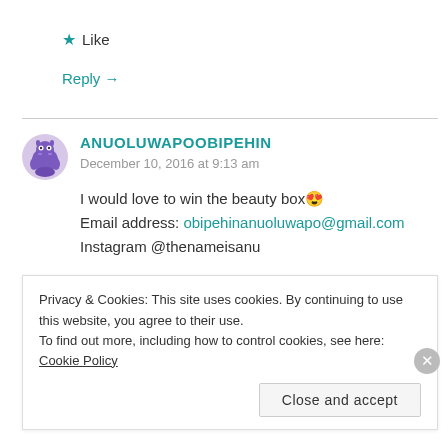★ Like
Reply →
ANUOLUWAPOOBIPEHIN
December 10, 2016 at 9:13 am
I would love to win the beauty box 😍
Email address: obipehinanuoluwapo@gmail.com
Instagram @thenameisanu
Privacy & Cookies: This site uses cookies. By continuing to use this website, you agree to their use.
To find out more, including how to control cookies, see here: Cookie Policy
Close and accept